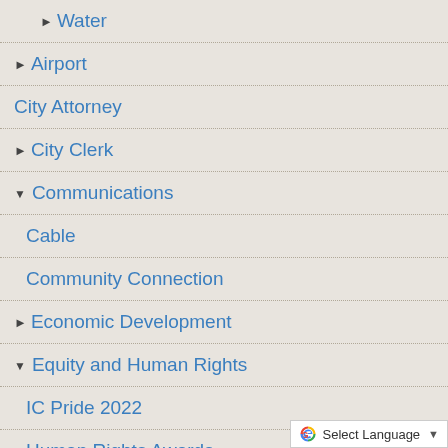Water
Airport
City Attorney
City Clerk
Communications
Cable
Community Connection
Economic Development
Equity and Human Rights
IC Pride 2022
Human Rights Awards
Human Rights Youth Awards